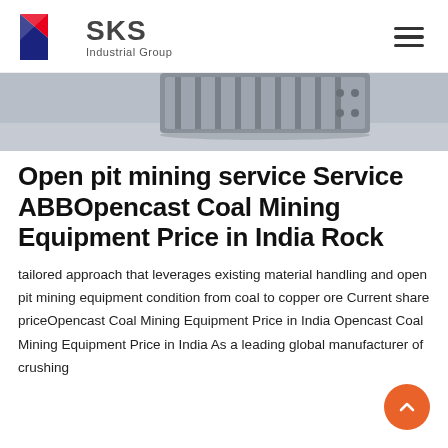SKS Industrial Group
[Figure (photo): Photo of metallic industrial equipment/component on a grey floor, partially cropped at top]
Open pit mining service Service ABBOpencast Coal Mining Equipment Price in India Rock
tailored approach that leverages existing material handling and open pit mining equipment condition from coal to copper ore Current share priceOpencast Coal Mining Equipment Price in India Opencast Coal Mining Equipment Price in India As a leading global manufacturer of crushing